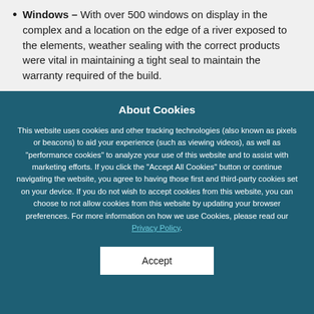Windows – With over 500 windows on display in the complex and a location on the edge of a river exposed to the elements, weather sealing with the correct products were vital in maintaining a tight seal to maintain the warranty required of the build.
About Cookies
This website uses cookies and other tracking technologies (also known as pixels or beacons) to aid your experience (such as viewing videos), as well as "performance cookies" to analyze your use of this website and to assist with marketing efforts. If you click the "Accept All Cookies" button or continue navigating the website, you agree to having those first and third-party cookies set on your device. If you do not wish to accept cookies from this website, you can choose to not allow cookies from this website by updating your browser preferences. For more information on how we use Cookies, please read our Privacy Policy.